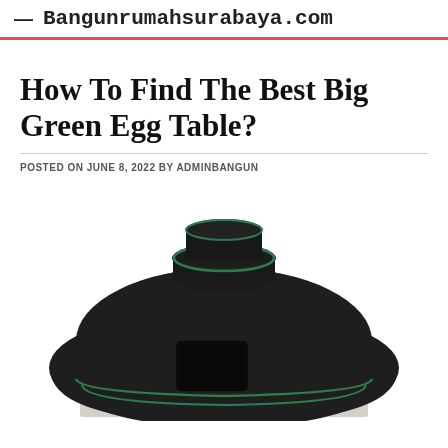— Bangunrumahsurabaya.com
How To Find The Best Big Green Egg Table?
POSTED ON JUNE 8, 2022 BY ADMINBANGUN
[Figure (photo): A Big Green Egg kamado grill covered with a black protective cover with green piping trim, shown on a light-colored table stand. The cover has a rounded dome shape with a cylindrical top chimney section and a rectangular vent cutout on the front.]